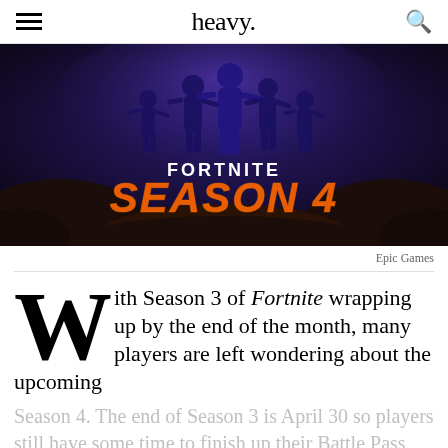heavy.
[Figure (photo): Fortnite Season 4 promotional image showing silhouettes of characters against a dark blue/purple rocky landscape background with the text 'FORTNITE' in white and 'SEASON 4' in large orange bold italic letters.]
Epic Games
With Season 3 of Fortnite wrapping up by the end of the month, many players are left wondering about the upcoming Season 4. The end of Season 3 is April 30 so players still have some time to finish up their Battle Pass